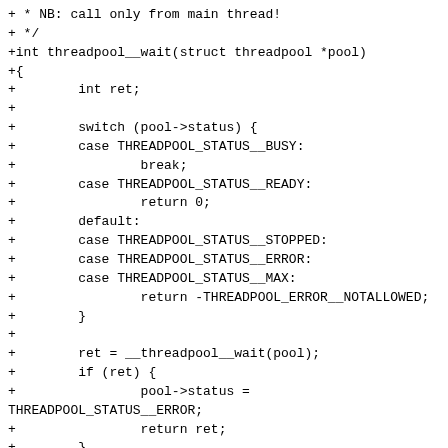+ * NB: call only from main thread!
+ */
+int threadpool__wait(struct threadpool *pool)
+{
+        int ret;
+
+        switch (pool->status) {
+        case THREADPOOL_STATUS__BUSY:
+                break;
+        case THREADPOOL_STATUS__READY:
+                return 0;
+        default:
+        case THREADPOOL_STATUS__STOPPED:
+        case THREADPOOL_STATUS__ERROR:
+        case THREADPOOL_STATUS__MAX:
+                return -THREADPOOL_ERROR__NOTALLOWED;
+        }
+
+        ret = __threadpool__wait(pool);
+        if (ret) {
+                pool->status =
THREADPOOL_STATUS__ERROR;
+                return ret;
+        }
+        pool->status = THREADPOOL_STATUS__READY;
+        return 0;
+}
+
+/**
+ * threadpool_ is busy - check if the pool is busy